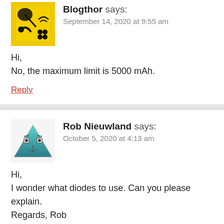[Figure (photo): Yellow and black avatar icon with a satellite/space graphic]
Blogthor says:
September 14, 2020 at 9:55 am
Hi,
No, the maximum limit is 5000 mAh.
Reply
[Figure (illustration): Teal/green triangle character avatar with cartoon eyes]
Rob Nieuwland says:
October 5, 2020 at 4:13 am
Hi,
I wonder what diodes to use. Can you please explain.
Regards, Rob
Reply